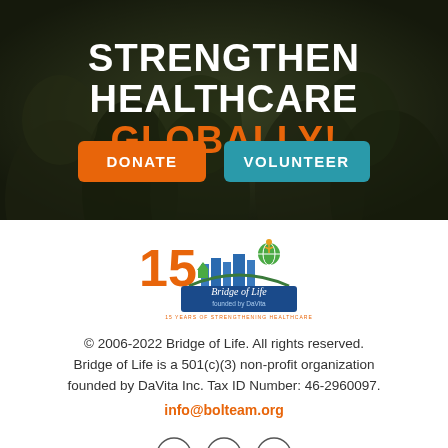[Figure (photo): Hero banner with group photo of young men outdoors, dark overlay, with large heading text and two buttons]
STRENGTHEN HEALTHCARE GLOBALLY!
DONATE
VOLUNTEER
[Figure (logo): Bridge of Life 15th anniversary logo founded by DaVita, with globe, buildings, bridge arc, and tagline: 15 YEARS OF STRENGTHENING HEALTHCARE]
© 2006-2022 Bridge of Life. All rights reserved. Bridge of Life is a 501(c)(3) non-profit organization founded by DaVita Inc. Tax ID Number: 46-2960097.
info@bolteam.org
[Figure (other): Social media icons: Facebook, LinkedIn, YouTube]